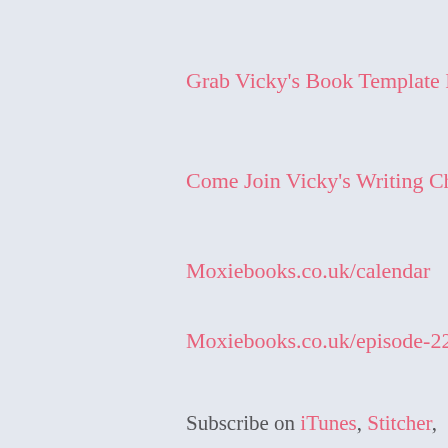Grab Vicky's Book Template Bundle
Come Join Vicky's Writing Challenge!
Moxiebooks.co.uk/calendar
Moxiebooks.co.uk/episode-228/
Subscribe on iTunes, Stitcher, and Overcast
Email Vicky about 1:1 coaching at: vicky@moxiebooks.co.uk